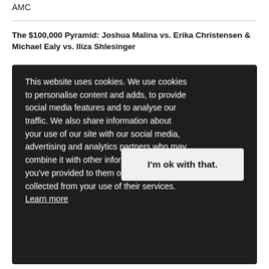AMC
The $100,000 Pyramid: Joshua Malina vs. Erika Christensen & Michael Ealy vs. Iliza Shlesinger
This website uses cookies. We use cookies to personalise content and adds, to provide social media features and to analyse our traffic. We also share information about your use of our site with our social media, advertising and analytics partners who may combine it with other information that you've provided to them or that they've collected from your use of their services. Learn more